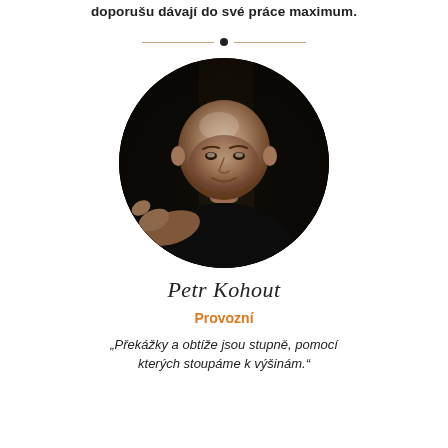doporu davají do své práce maximum.
[Figure (photo): Circular portrait photo of Petr Kohout, a bald middle-aged man in a dark shirt, pointing toward the camera, set against a dark blurred indoor background.]
Petr Kohout
Provozní
„Překážky a obtíže jsou stupně, pomocí kterých stoupáme k výšinám.“